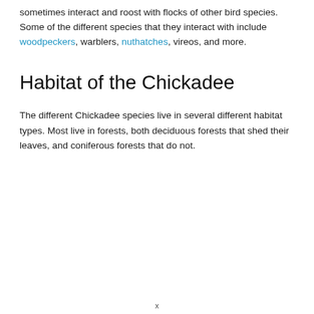sometimes interact and roost with flocks of other bird species. Some of the different species that they interact with include woodpeckers, warblers, nuthatches, vireos, and more.
Habitat of the Chickadee
The different Chickadee species live in several different habitat types. Most live in forests, both deciduous forests that shed their leaves, and coniferous forests that do not.
x